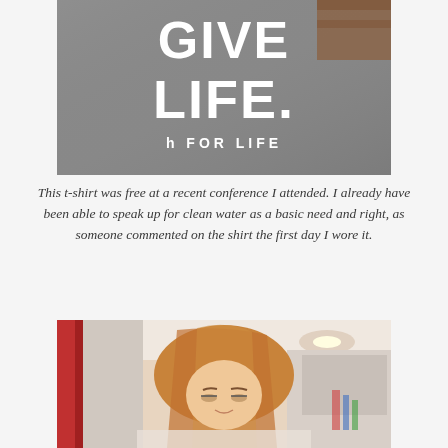[Figure (photo): Close-up photo of a grey t-shirt with large white text reading 'GIVE LIFE.' and smaller text 'h FOR LIFE' below, worn by a person standing indoors with a wooden floor visible in the background.]
This t-shirt was free at a recent conference I attended. I already have been able to speak up for clean water as a basic need and right, as someone commented on the shirt the first day I wore it.
[Figure (photo): Photo of a young woman with long reddish-blonde hair looking down, standing in a home interior. A red door frame is visible on the left, and a ceiling fan with light fixture is visible in the background on the right.]